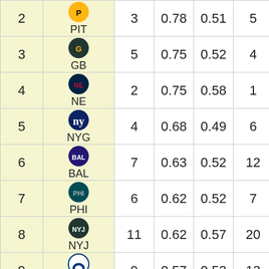| Rank | Team | Col3 | Col4 | Col5 | Col6 | Col7 |
| --- | --- | --- | --- | --- | --- | --- |
| 2 | PIT | 3 | 0.78 | 0.51 | 5 | 1 |
| 3 | GB | 5 | 0.75 | 0.52 | 4 | 6 |
| 4 | NE | 2 | 0.75 | 0.58 | 1 | 19 |
| 5 | NYG | 4 | 0.68 | 0.49 | 6 | 8 |
| 6 | BAL | 7 | 0.63 | 0.52 | 12 | 5 |
| 7 | PHI | 6 | 0.62 | 0.52 | 7 | 10 |
| 8 | NYJ | 11 | 0.62 | 0.57 | 20 | 3 |
| 9 | IND | 9 | 0.57 | 0.52 | 13 | 12 |
| 10 | ... |  |  |  |  |  |